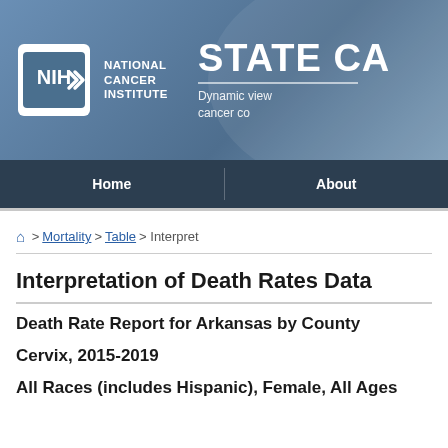[Figure (logo): NIH National Cancer Institute logo with white NIH letters in a rounded rectangle on a blue-grey banner, alongside 'STATE CA...' header title and subtitle 'Dynamic view... cancer co...']
Home   About
🏠 > Mortality > Table > Interpret
Interpretation of Death Rates Data
Death Rate Report for Arkansas by County
Cervix, 2015-2019
All Races (includes Hispanic), Female, All Ages